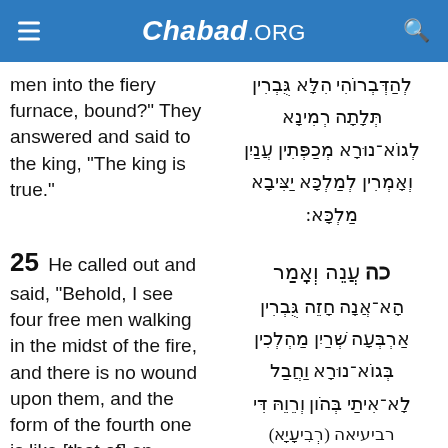Chabad.ORG
men into the fiery furnace, bound?" They answered and said to the king, "The king is true."
לְהַדְּבְרוֹהִי הִלָּא גֻּבְרִין תְּלָתָה רְמִינָא לְגוֹא־נוּרָא מְכַפְּתִין עֲנַיִן וְאָמְרִין לְמַלְכָּא יַצִּיבָא מַלְכָּא:
25  He called out and said, "Behold, I see four free men walking in the midst of the fire, and there is no wound upon them, and the form of the fourth one is like [that of] an angel."
כה עֲנֵה וְאָמַר הָא־אֲנָה חָזֵה גֻּבְרִין אַרְבְּעָה שְׁרַיִן מַהְלְכִין בְּגוֹא־נוּרָא וַחֲבַל לָא־אִיתַי בְּהֹון וְרֵוֵהּ דִּי רביעיאה (רְבִיעָיָא)